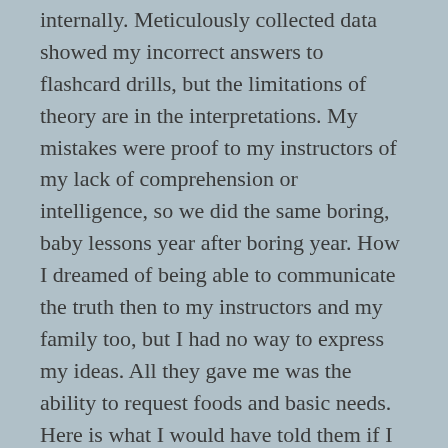internally. Meticulously collected data showed my incorrect answers to flashcard drills, but the limitations of theory are in the interpretations. My mistakes were proof to my instructors of my lack of comprehension or intelligence, so we did the same boring, baby lessons year after boring year. How I dreamed of being able to communicate the truth then to my instructors and my family too, but I had no way to express my ideas. All they gave me was the ability to request foods and basic needs. Here is what I would have told them if I could have when I was small. My body isn't under my mind's complete control. I know the right answer to these thrilling flashcards, unfortunately my hand isn't fully under my control either. My body is often ignoring my thoughts. I look at my flashcards. You ask me to touch 'tree,' for example, and though I can clearly differentiate between tree, house, boy